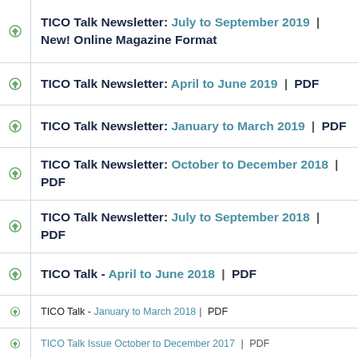TICO Talk Newsletter: July to September 2019 | New! Online Magazine Format
TICO Talk Newsletter: April to June 2019 | PDF
TICO Talk Newsletter: January to March 2019 | PDF
TICO Talk Newsletter: October to December 2018 | PDF
TICO Talk Newsletter: July to September 2018 | PDF
TICO Talk - April to June 2018 | PDF
TICO Talk - January to March 2018 | PDF
TICO Talk Issue October to December 2017 | PDF
TICO Talk - July to September 2017 | PDF
TICO Talk Issue April to June 2017 | PDF
TICO Talk - January to March 2017 | PDF
TICO Talk - October to December 2016 | PDF